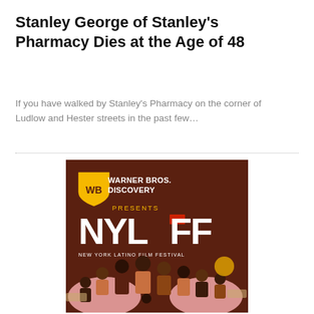Stanley George of Stanley's Pharmacy Dies at the Age of 48
If you have walked by Stanley's Pharmacy on the corner of Ludlow and Hester streets in the past few…
[Figure (illustration): Warner Bros. Discovery presents NYLFF New York Latino Film Festival advertisement. Dark brown background with WB shield logo, white text reading WARNER BROS. DISCOVERY PRESENTS NYLFF NEW YORK LATINO FILM FESTIVAL, and a group of diverse people at the bottom.]